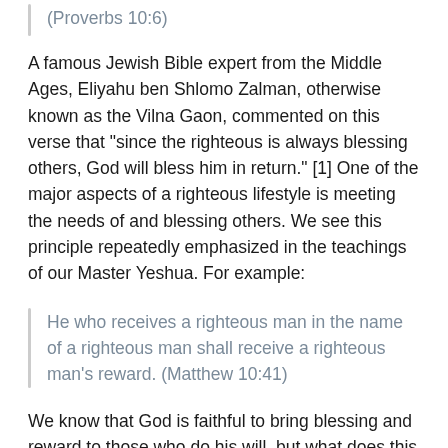(Proverbs 10:6)
A famous Jewish Bible expert from the Middle Ages, Eliyahu ben Shlomo Zalman, otherwise known as the Vilna Gaon, commented on this verse that “since the righteous is always blessing others, God will bless him in return.” [1] One of the major aspects of a righteous lifestyle is meeting the needs of and blessing others. We see this principle repeatedly emphasized in the teachings of our Master Yeshua. For example:
He who receives a righteous man in the name of a righteous man shall receive a righteous man’s reward. (Matthew 10:41)
We know that God is faithful to bring blessing and reward to those who do his will, but what does this blessing look like?